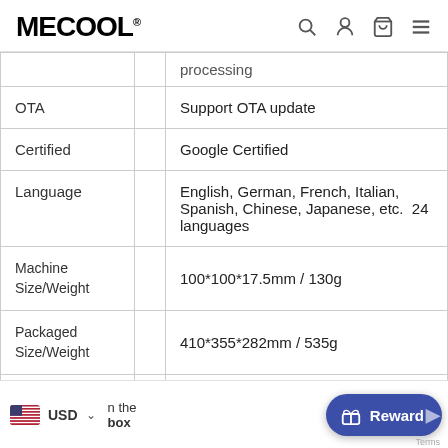MECOOL®
| Attribute |  | Value |
| --- | --- | --- |
|  |  | processing |
| OTA |  | Support OTA update |
| Certified |  | Google Certified |
| Language |  | English, German, French, Italian, Spanish, Chinese, Japanese, etc. 24 languages |
| Machine Size/Weight |  | 100*100*17.5mm / 130g |
| Packaged Size/Weight |  | 410*355*282mm / 535g |
| In the box |  | 1* Adapter,1* Gift B... remote,1* HDTV Cable,1* USC... M... |
USD  In the box  Reward  Terms